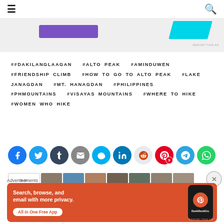[Figure (screenshot): Top navigation bar with hamburger menu icon on left and search icon on right]
[Figure (screenshot): Advertisement banner with purple button and cyan shape, with 'REPORT THIS AD' text]
##DAKILANGLAAGAN  #ALTO PEAK  #AMINDUWEN  #FRIENDSHIP CLIMB  #HOW TO GO TO ALTO PEAK  #LAKE JANAGDAN  #MT. HANAGDAN  #PHILIPPINES  #PHMOUNTAINS  #VISAYAS MOUNTAINS  #WHERE TO HIKE  #WOMEN WHO HIKE
[Figure (infographic): Social share buttons: Facebook, Twitter, Tumblr, Email, Skype, LinkedIn, Reddit, Pinterest (with 9 count badge), Telegram, WhatsApp]
[Figure (screenshot): Thumbnail image strip with navigation]
Advertisements
[Figure (screenshot): DuckDuckGo advertisement: Search, browse, and email with more privacy. All in One Free App. DuckDuckGo logo on phone mockup.]